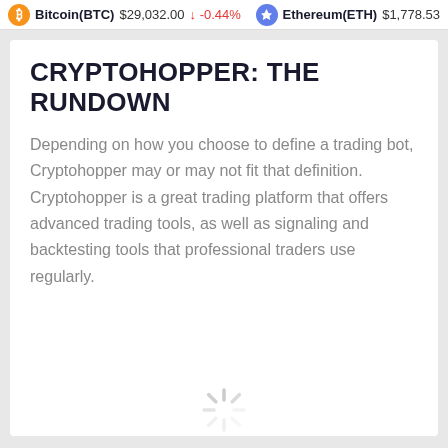Bitcoin(BTC) $29,032.00 ↓ -0.44%   Ethereum(ETH) $1,778.53
CRYPTOHOPPER: THE RUNDOWN
Depending on how you choose to define a trading bot, Cryptohopper may or may not fit that definition. Cryptohopper is a great trading platform that offers advanced trading tools, as well as signaling and backtesting tools that professional traders use regularly.
[Figure (other): Loading spinner icon in the middle of the page]